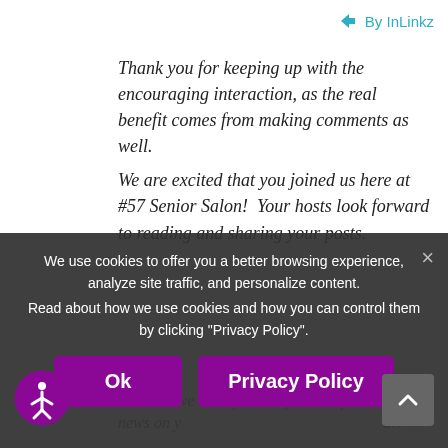By InLinkz
Thank you for keeping up with the encouraging interaction, as the real benefit comes from making comments as well.
We are excited that you joined us here at #57 Senior Salon!  Your hosts look forward to reading and sharing your posts.
CONTINUING TO USE OUR WEBSITE SIGNIFIES YOUR ACCEPTANCE OF OUR PRIVACY POLICY INCLUDING THE USE OF COOKIES. WE VALUE YOUR PRIVACY.
«Please, we need your help, so keep sharing the news on your blog and social media in order to build this community and keep your loyal supporters...»
We use cookies to offer you a better browsing experience, analyze site traffic, and personalize content.
Read about how we use cookies and how you can control them by clicking "Privacy Policy".